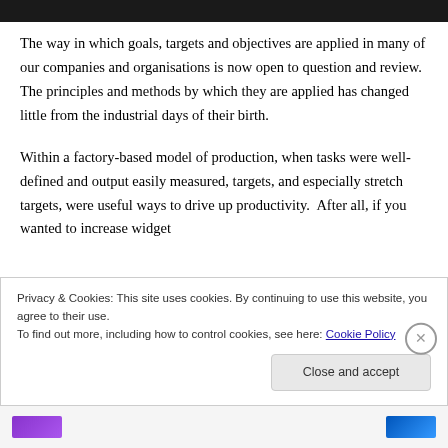[Figure (photo): Partial image strip at the top of the page, appears dark/black, cropped]
The way in which goals, targets and objectives are applied in many of our companies and organisations is now open to question and review. The principles and methods by which they are applied has changed little from the industrial days of their birth.
Within a factory-based model of production, when tasks were well-defined and output easily measured, targets, and especially stretch targets, were useful ways to drive up productivity.  After all, if you wanted to increase widget
Privacy & Cookies: This site uses cookies. By continuing to use this website, you agree to their use.
To find out more, including how to control cookies, see here: Cookie Policy